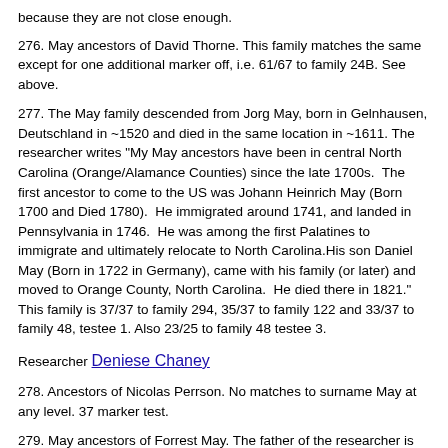because they are not close enough.
276. May ancestors of David Thorne. This family matches the same except for one additional marker off, i.e. 61/67 to family 24B. See above.
277. The May family descended from Jorg May, born in Gelnhausen, Deutschland in ~1520 and died in the same location in ~1611. The researcher writes "My May ancestors have been in central North Carolina (Orange/Alamance Counties) since the late 1700s. The first ancestor to come to the US was Johann Heinrich May (Born 1700 and Died 1780). He immigrated around 1741, and landed in Pennsylvania in 1746. He was among the first Palatines to immigrate and ultimately relocate to North Carolina.His son Daniel May (Born in 1722 in Germany), came with his family (or later) and moved to Orange County, North Carolina. He died there in 1821." This family is 37/37 to family 294, 35/37 to family 122 and 33/37 to family 48, testee 1. Also 23/25 to family 48 testee 3.
Researcher Deniese Chaney
278. Ancestors of Nicolas Perrson. No matches to surname May at any level. 37 marker test.
279. May ancestors of Forrest May. The father of the researcher is Mark May 7/3/54 born in Guantanamo Cuba on US Navy base to Forrest Alan May 12/13/1932-Living and Margaret Louisa Firth (1931-1985). Forrest May born to Clyde Badger May May 20,1900 Indiana and died on March 1963 and Ruby Davis Radcliff 2/19/1901 Indiana died 11/29/1990 in Broward County Florida. Clyde Badger May was born to Andrew Jackson May 8/24/1856 Indiana died 5/29/1913 and Nancy Caroline Bobbit 8/17/1859 Indiana died 11/14/1912. This family is 37/37 to family 46, 36/37 to family 21 and family 261, 35/37 to family 158 and 305, and 34/37 to